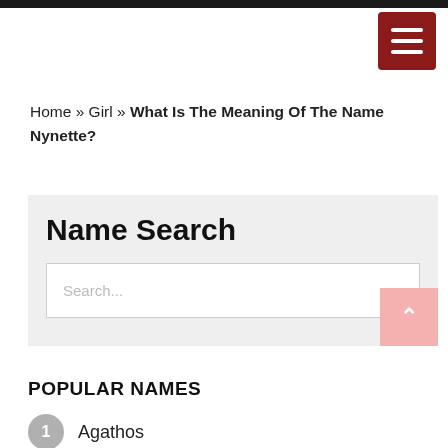Home » Girl » What Is The Meaning Of The Name Nynette?
Name Search
Search...
POPULAR NAMES
1 Agathos